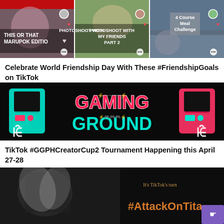[Figure (screenshot): Three TikTok video thumbnails side by side: 'THIS OR THAT MARUPOK EDITION', 'PHOTOSHOOT WITH MY FRIENDS PART 2', and '4 Course Meal Challenge']
Celebrate World Friendship Day With These #FriendshipGoals on TikTok
[Figure (screenshot): Gaming Ground banner image with TikTok branding, arcade machines, and stylized gaming text in pink and cyan on black background]
TikTok #GGPHCreatorCup2 Tournament Happening this April 27-28
[Figure (screenshot): Partial image showing Attack on Titan TikTok promotion with text 'It's TikTok's turn' and '#AttackOnTita' visible, with purple button]